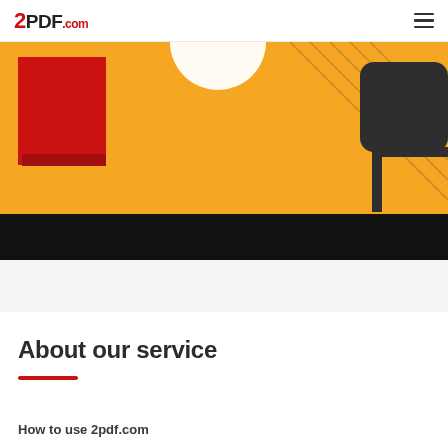2PDF.com
[Figure (illustration): Partial view of a 2PDF.com hero/banner illustration with yellow background, a red rectangle on the left, a white circle in the center, and a dark grey rounded rectangle shape on the right. Bottom portion has a black band.]
About our service
How to use 2pdf.com